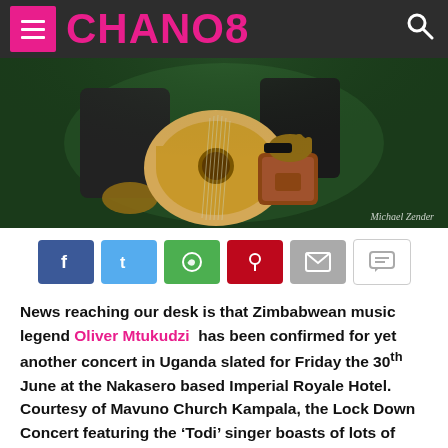CHANO8
[Figure (photo): A musician's hands playing an acoustic guitar on a dark green stage background, with a brown leather bag visible. Photo credit: Michael Zender]
[Figure (infographic): Social sharing buttons: Facebook, Twitter, WhatsApp, Pinterest, Email, Comment]
News reaching our desk is that Zimbabwean music legend Oliver Mtukudzi has been confirmed for yet another concert in Uganda slated for Friday the 30th June at the Nakasero based Imperial Royale Hotel. Courtesy of Mavuno Church Kampala, the Lock Down Concert featuring the ‘Todi’ singer boasts of lots of activities and preparations are underway.